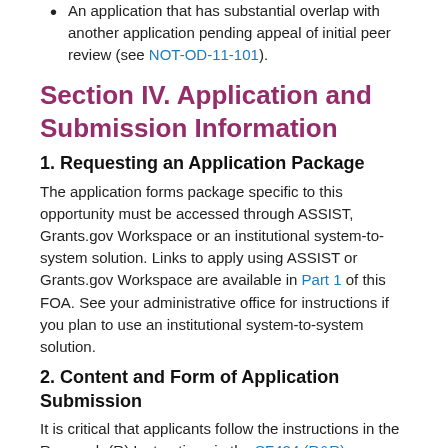An application that has substantial overlap with another application pending appeal of initial peer review (see NOT-OD-11-101).
Section IV. Application and Submission Information
1. Requesting an Application Package
The application forms package specific to this opportunity must be accessed through ASSIST, Grants.gov Workspace or an institutional system-to-system solution. Links to apply using ASSIST or Grants.gov Workspace are available in Part 1 of this FOA. See your administrative office for instructions if you plan to use an institutional system-to-system solution.
2. Content and Form of Application Submission
It is critical that applicants follow the instructions in the Research (R) Instructions in the SF424 (R&R) Application Guide except where instructed in this funding opportunity announcement to do otherwise. Conformance to the requirements in the Application Guide is required and strictly enforced. Applications that are out of compliance with these instructions may be delayed or not